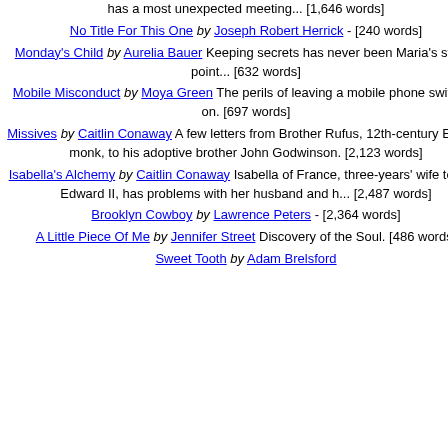has a most unexpected meeting... [1,646 words]
No Title For This One by Joseph Robert Herrick - [240 words]
Monday's Child by Aurelia Bauer Keeping secrets has never been Maria's strong point... [632 words]
Mobile Misconduct by Moya Green The perils of leaving a mobile phone switched on. [697 words]
Missives by Caitlin Conaway A few letters from Brother Rufus, 12th-century English monk, to his adoptive brother John Godwinson. [2,123 words]
Isabella's Alchemy by Caitlin Conaway Isabella of France, three-years' wife to King Edward II, has problems with her husband and h... [2,487 words]
Brooklyn Cowboy by Lawrence Peters - [2,364 words]
A Little Piece Of Me by Jennifer Street Discovery of the Soul. [486 words]
Sweet Tooth by Adam Brelsford
Your Review
Please Enter Code*
Submit Y...
Submit Your Rati...
Worst  1  2  3  4
Submit
COPYRIGHT NOTICE
© 2000 Joan Bentley
STORYMANIA PUBLICATION DATE
April 2002